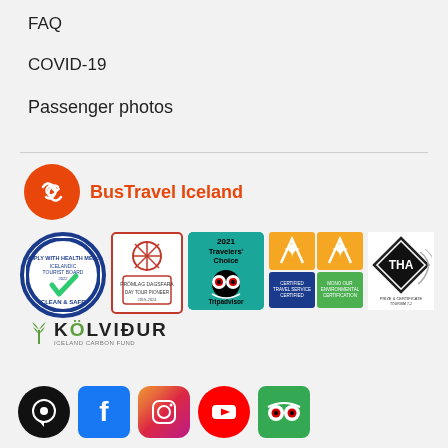FAQ
COVID-19
Passenger photos
[Figure (logo): BusTravel Iceland logo with orange circle icon and brand name text]
[Figure (illustration): Row of certification badges: Icelandic Tourist Board Clean & Safe, Frá Ado Day Tour Pioneer, Tripadvisor 2021 Travelers Choice, two Vakinn quality badges with certified travel service and environmental certification, THA award badge, and Kolvidur Iceland Carbon Fund logo]
[Figure (illustration): Social media icons row: chat bubble, Facebook, Instagram, YouTube, Tripadvisor]